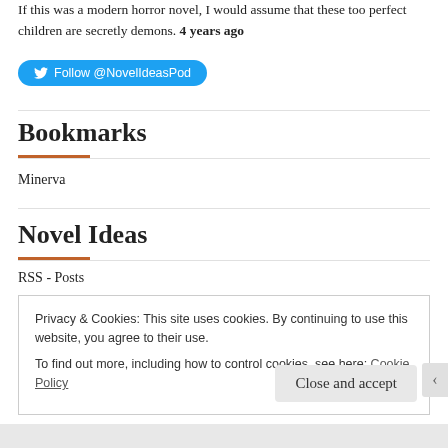If this was a modern horror novel, I would assume that these too perfect children are secretly demons. 4 years ago
[Figure (other): Twitter Follow button with bird icon: Follow @NovelIdeasPod]
Bookmarks
Minerva
Novel Ideas
RSS - Posts
Privacy & Cookies: This site uses cookies. By continuing to use this website, you agree to their use.
To find out more, including how to control cookies, see here: Cookie Policy
Close and accept